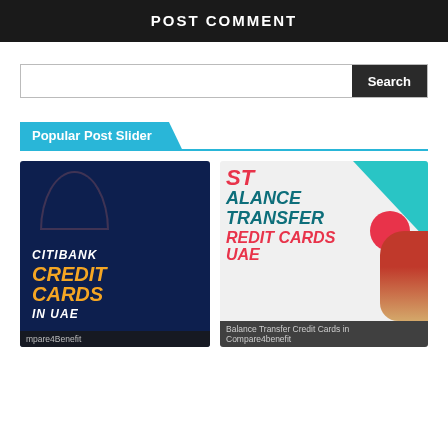POST COMMENT
Search
Popular Post Slider
[Figure (screenshot): Citibank Credit Cards in UAE promotional image — dark navy background with italic text 'CITIBANK' in white and 'CREDIT CARDS' in gold/yellow, 'IN UAE' in white italic.]
mpare4Benefit
[Figure (screenshot): Balance Transfer Credit Cards in UAE — white background with teal triangle top-right, red circle, partial text: 'ST', 'ALANCE', 'TRANSFER', 'REDIT CARDS', 'UAE' in red and teal bold italic.]
Balance Transfer Credit Cards in UAE — Compare4benefit